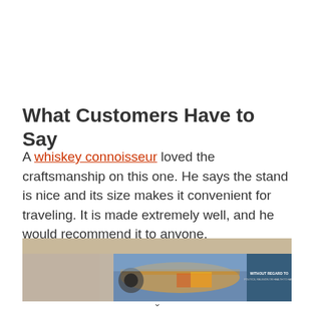What Customers Have to Say
A whiskey connoisseur loved the craftsmanship on this one. He says the stand is nice and its size makes it convenient for traveling. It is made extremely well, and he would recommend it to anyone.
[Figure (photo): Advertisement banner featuring an airplane being loaded with cargo and text: WITHOUT REGARD TO POLITICS, RELIGION OR HEALTH TO HAVE]
v